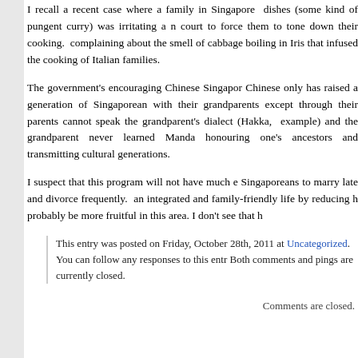I recall a recent case where a family in Singapore dishes (some kind of pungent curry) was irritating a n court to force them to tone down their cooking. complaining about the smell of cabbage boiling in Iris that infused the cooking of Italian families.
The government's encouraging Chinese Singapor Chinese only has raised a generation of Singaporean with their grandparents except through their parents cannot speak the grandparent's dialect (Hakka, example) and the grandparent never learned Manda honouring one's ancestors and transmitting cultural generations.
I suspect that this program will not have much e Singaporeans to marry late and divorce frequently. an integrated and family-friendly life by reducing h probably be more fruitful in this area. I don't see that h
This entry was posted on Friday, October 28th, 2011 at Uncategorized. You can follow any responses to this entr Both comments and pings are currently closed.
Comments are closed.